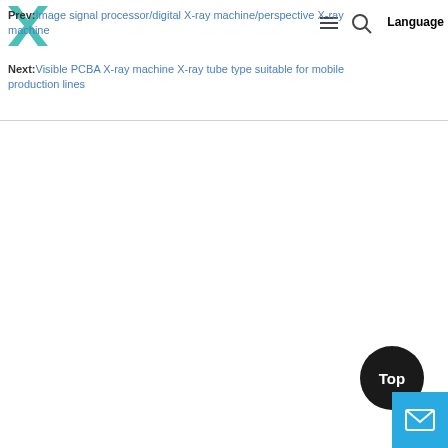Navigation header with logo and language/menu controls
Prev: Image signal processor/digital X-ray machine/perspective X-ray machine
Next: Visible PCBA X-ray machine X-ray tube type suitable for mobile production lines
[Figure (other): Top button (dark circle) and mail/contact button (cyan square) in bottom-right corner]